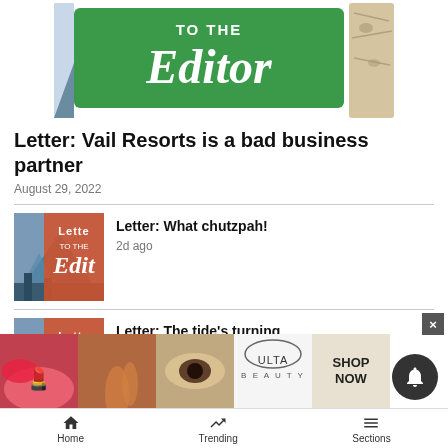[Figure (illustration): Letters To The Editor banner image with green sign and birch tree]
Letter: Vail Resorts is a bad business partner
August 29, 2022
[Figure (illustration): Letters To The Editor thumbnail with mountain landscape]
Letter: What chutzpah!
2d ago
[Figure (illustration): Letters To The Editor thumbnail with mountain landscape]
Letter: The tide's turning
2d ago
[Figure (illustration): Ulta Beauty advertisement banner with makeup imagery]
Home   Trending   Sections